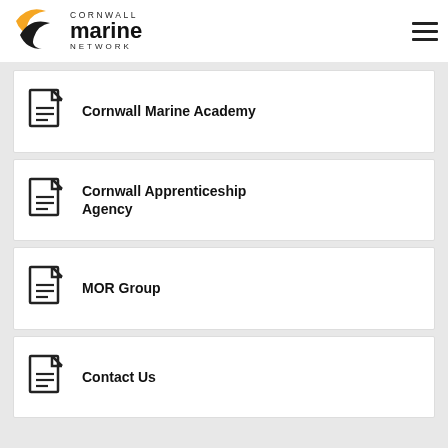Cornwall Marine Network
Cornwall Marine Academy
Cornwall Apprenticeship Agency
MOR Group
Contact Us